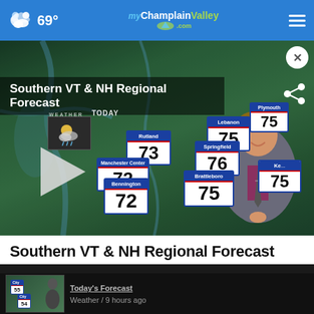69° myChamplainValley.com
[Figure (screenshot): Weather forecast video screenshot showing a meteorologist in front of a regional map with temperature cards for Southern VT & NH. Temperatures shown: Rutland 73, Manchester Center 72, Bennington 72, Lebanon 75, Springfield 76, Plymouth 75, Brattleboro 75, Keene 75.]
Southern VT & NH Regional Forecast
[Figure (screenshot): Thumbnail of another weather broadcast showing temperatures 55 and 54 on a map with a meteorologist.]
Weather / 9 hours ago